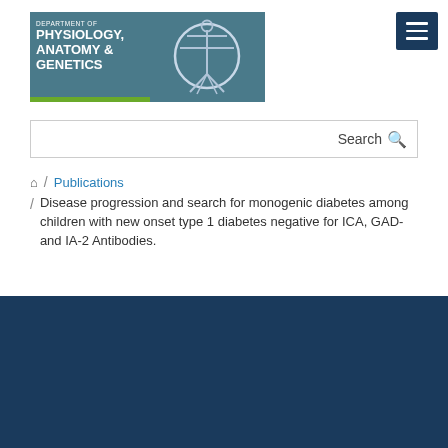[Figure (logo): Department of Physiology, Anatomy & Genetics logo with Vitruvian Man figure on teal background]
Search
/ Publications / Disease progression and search for monogenic diabetes among children with new onset type 1 diabetes negative for ICA, GAD- and IA-2 Antibodies.
Cookies on this website
We use cookies to ensure that we give you the best experience on our website. If you click 'Accept all cookies' we'll assume that you are happy to receive all cookies and you won't see this message again. If you click 'Reject all non-essential cookies' only necessary cookies providing